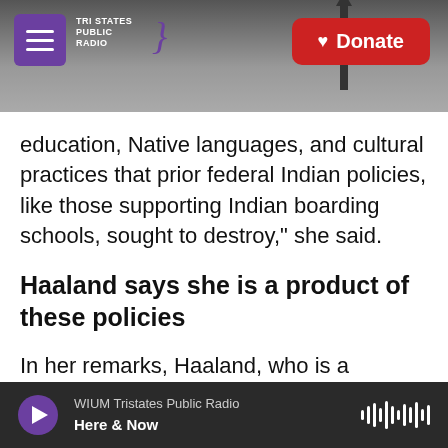Tri States Public Radio | Donate
education, Native languages, and cultural practices that prior federal Indian policies, like those supporting Indian boarding schools, sought to destroy," she said.
Haaland says she is a product of these policies
In her remarks, Haaland, who is a member of Laguna Pueblo, said her position as the first Native American cabinet secretary places her in a "unique position" to address the impacts of the U.S. government's policies towards Native children.
WIUM Tristates Public Radio | Here & Now